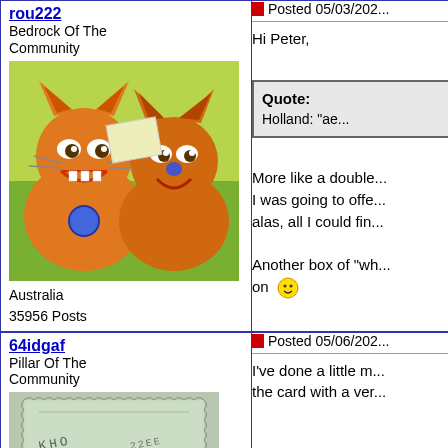rou222 — Bedrock Of The Community — Australia — 35956 Posts
[Figure (photo): Avatar image of two cartoon cats, orange, grinning and looking mischievous, on a colorful background]
Posted 05/03/202...
Hi Peter,
Quote: Holland: "ae..."
More like a double... I was going to offe... alas, all I could fin...
Another box of "wh... on 🙂
64idgaf — Pillar Of The Community
[Figure (photo): Avatar image of a vintage postage stamp with perforated edges, light green color with partial text visible]
Posted 05/06/202...
I've done a little m... the card with a ver...